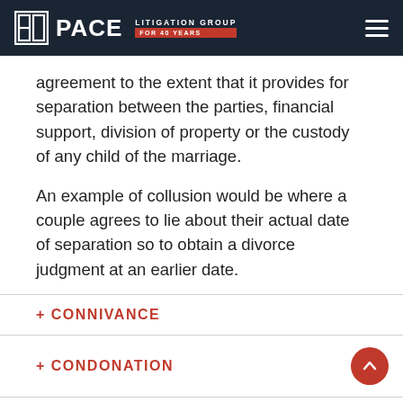PACE LITIGATION GROUP FOR 40 YEARS
agreement to the extent that it provides for separation between the parties, financial support, division of property or the custody of any child of the marriage.
An example of collusion would be where a couple agrees to lie about their actual date of separation so to obtain a divorce judgment at an earlier date.
+ CONNIVANCE
+ CONDONATION